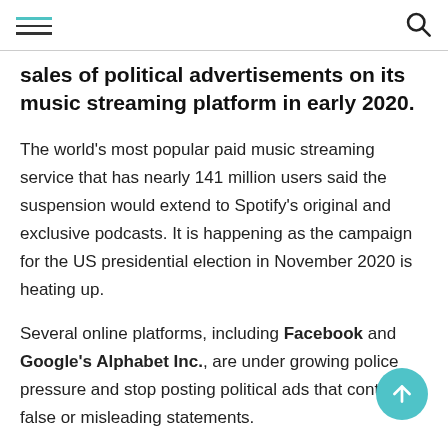[hamburger menu icon] [search icon]
sales of political advertisements on its music streaming platform in early 2020.
The world's most popular paid music streaming service that has nearly 141 million users said the suspension would extend to Spotify's original and exclusive podcasts. It is happening as the campaign for the US presidential election in November 2020 is heating up.
Several online platforms, including Facebook and Google's Alphabet Inc., are under growing police pressure and stop posting political ads that contain false or misleading statements.